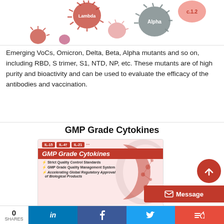[Figure (illustration): Virus mutant particles illustration showing Lambda, Alpha, C.1.2 and other viral variants as spiky spheres in red/pink tones]
Emerging VoCs, Omicron, Delta, Beta, Alpha mutants and so on, including RBD, S trimer, S1, NTD, NP, etc. These mutants are of high purity and bioactivity and can be used to evaluate the efficacy of the antibodies and vaccination.
GMP Grade Cytokines
[Figure (illustration): GMP Grade Cytokines product image showing IL-15, IL-4, IL-21 tags, bold red italic title 'GMP Grade Cytokines', and bullet points: Strict Quality Control Standards, GMP Grade Quality Management System, Accelerating Global Regulatory Approval of Biological Products. Right side has red crescent with molecule illustration.]
ACROBiosystems developed a series of GMP grade cytokines under the GMP grade quality management system. Those products are all suitable for T/NK cell generation, activation, and proliferation in cell therapy rese...